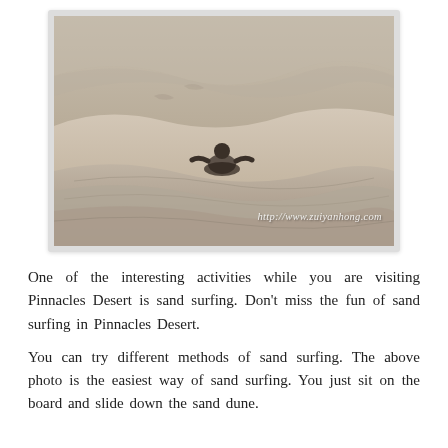[Figure (photo): A person sand surfing at Pinnacles Desert, lying/sitting on a board sliding down sandy dunes. Watermark reads http://www.zuiyanhong.com]
One of the interesting activities while you are visiting Pinnacles Desert is sand surfing. Don't miss the fun of sand surfing in Pinnacles Desert.
You can try different methods of sand surfing. The above photo is the easiest way of sand surfing. You just sit on the board and slide down the sand dune.